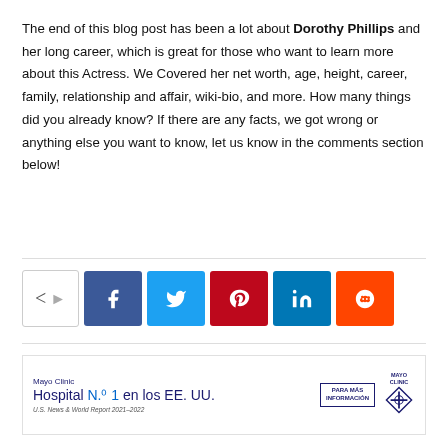The end of this blog post has been a lot about Dorothy Phillips and her long career, which is great for those who want to learn more about this Actress. We Covered her net worth, age, height, career, family, relationship and affair, wiki-bio, and more. How many things did you already know? If there are any facts, we got wrong or anything else you want to know, let us know in the comments section below!
[Figure (infographic): Social share bar with share icon and buttons for Facebook, Twitter, Pinterest, LinkedIn, and Reddit]
[Figure (infographic): Mayo Clinic advertisement banner: Hospital N.1 en los EE. UU. U.S. News & World Report 2021-2022, with Para Más Información button and Mayo Clinic logo]